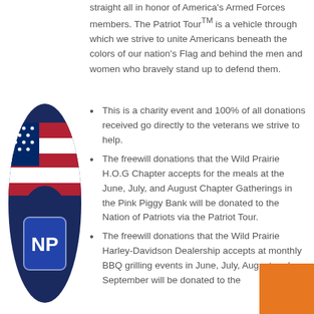straight all in honor of America's Armed Forces members. The Patriot Tour™ is a vehicle through which we strive to unite Americans beneath the colors of our nation's Flag and behind the men and women who bravely stand up to defend them.
[Figure (logo): Nation of Patriots logo — an eagle feather decorated with American flag stars and stripes motif, with a shield bearing 'NP' letters, in red, white, and blue.]
This is a charity event and 100% of all donations received go directly to the veterans we strive to help.
The freewill donations that the Wild Prairie H.O.G Chapter accepts for the meals at the June, July, and August Chapter Gatherings in the Pink Piggy Bank will be donated to the Nation of Patriots via the Patriot Tour.
The freewill donations that the Wild Prairie Harley-Davidson Dealership accepts at monthly BBQ grilling events in June, July, August and September will be donated to the